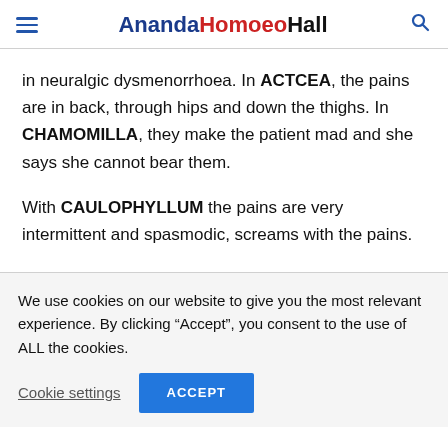AnandaHomoeoHall
in neuralgic dysmenorrhoea. In ACTCEA, the pains are in back, through hips and down the thighs. In CHAMOMILLA, they make the patient mad and she says she cannot bear them.
With CAULOPHYLLUM the pains are very intermittent and spasmodic, screams with the pains.
We use cookies on our website to give you the most relevant experience. By clicking “Accept”, you consent to the use of ALL the cookies.